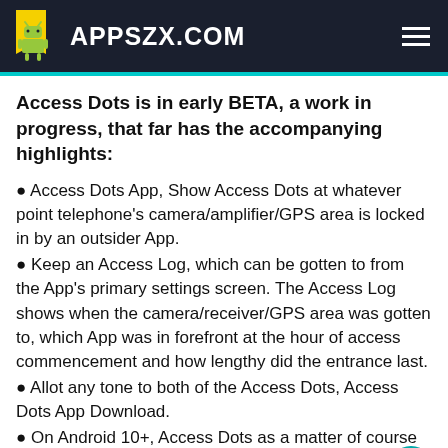APPSZX.COM
Access Dots is in early BETA, a work in progress, that far has the accompanying highlights:
Access Dots App, Show Access Dots at whatever point telephone's camera/amplifier/GPS area is locked in by an outsider App.
Keep an Access Log, which can be gotten to from the App's primary settings screen. The Access Log shows when the camera/receiver/GPS area was gotten to, which App was in forefront at the hour of access commencement and how lengthy did the entrance last.
Allot any tone to both of the Access Dots, Access Dots App Download.
On Android 10+, Access Dots as a matter of course sticks next to your camera pattern